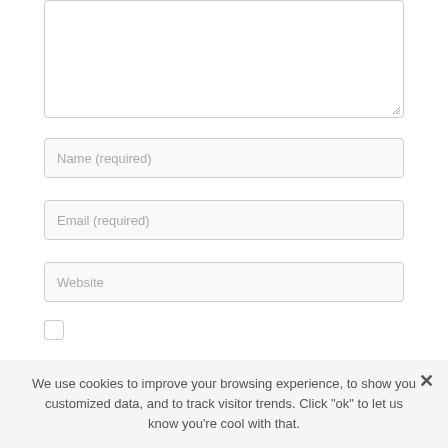[Figure (other): Textarea input box with resize handle in bottom-right corner]
Name (required)
Email (required)
Website
[Figure (other): Unchecked checkbox]
We use cookies to improve your browsing experience, to show you customized data, and to track visitor trends. Click "ok" to let us know you're cool with that.